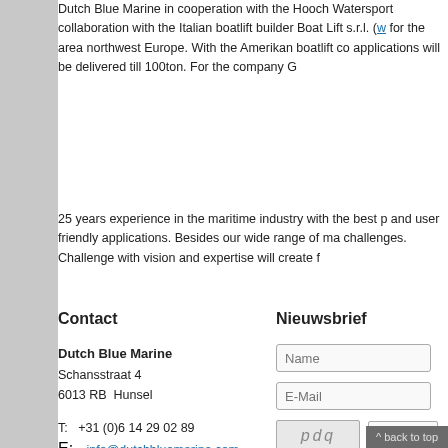Dutch Blue Marine in cooperation with the Hooch Watersport collaboration with the Italian boatlift builder Boat Lift s.r.l. (w... for the area northwest Europe. With the Amerikan boatlift co... applications will be delivered till 100ton. For the company G...
25 years experience in the maritime industry with the best p... and user friendly applications. Besides our wide range of ma... challenges. Challenge with vision and expertise will create f...
Contact
Nieuwsbrief
Dutch Blue Marine
Schansstraat 4
6013 RB  Hunsel

T:   +31 (0)6 14 29 02 89
E:   info@dutchbluemarine.com